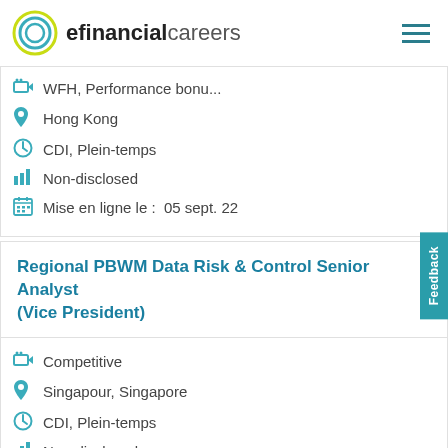efinancialcareers
WFH, Performance bonu...
Hong Kong
CDI, Plein-temps
Non-disclosed
Mise en ligne le :  05 sept. 22
Regional PBWM Data Risk & Control Senior Analyst (Vice President)
Competitive
Singapour, Singapore
CDI, Plein-temps
Non-disclosed
Mise en ligne le :  27 août 22